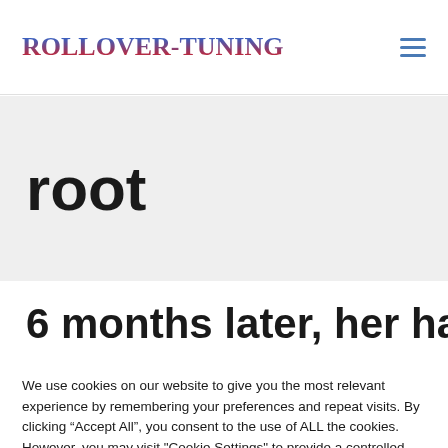ROLLOVER-TUNING
root
6 months later, her hair has
We use cookies on our website to give you the most relevant experience by remembering your preferences and repeat visits. By clicking “Accept All”, you consent to the use of ALL the cookies. However, you may visit "Cookie Settings" to provide a controlled consent.
Cookie Settings   Accept All